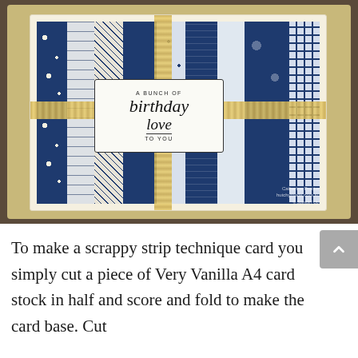[Figure (photo): A handmade birthday card using scrappy strip technique. The card features vertical strips of navy blue and white patterned paper with various designs (floral, geometric, chevron). A gold ribbon crosses horizontally and vertically. A white label tag in the center reads 'A BUNCH OF birthday love TO YOU' in a mix of block and script lettering. The card sits on a dark wooden surface. Watermark reads 'Catherine Proctor hutchymode.com.au']
To make a scrappy strip technique card you simply cut a piece of Very Vanilla A4 card stock in half and score and fold to make the card base. Cut